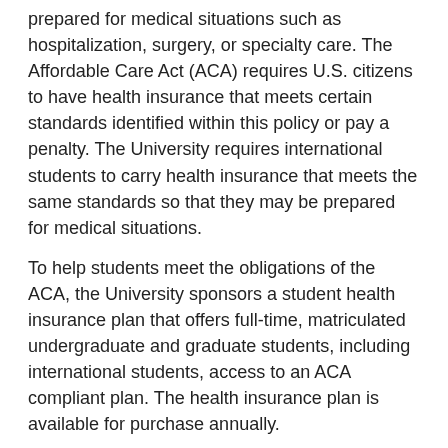prepared for medical situations such as hospitalization, surgery, or specialty care. The Affordable Care Act (ACA) requires U.S. citizens to have health insurance that meets certain standards identified within this policy or pay a penalty. The University requires international students to carry health insurance that meets the same standards so that they may be prepared for medical situations.
To help students meet the obligations of the ACA, the University sponsors a student health insurance plan that offers full-time, matriculated undergraduate and graduate students, including international students, access to an ACA compliant plan. The health insurance plan is available for purchase annually.
Details:
All full-time undergraduate (12+credits) students or any graduate student that is a student-athlete or enrolled in the Physician Assistant, Physical Therapy, Occupational Therapy, Public Health, Cancer Care, or Nursing program must also have health insurance coverage. A Student Health Insurance Plan is available for those students who do not have current insurance coverage. All full-time students must participate in this insurance plan unless proof can be